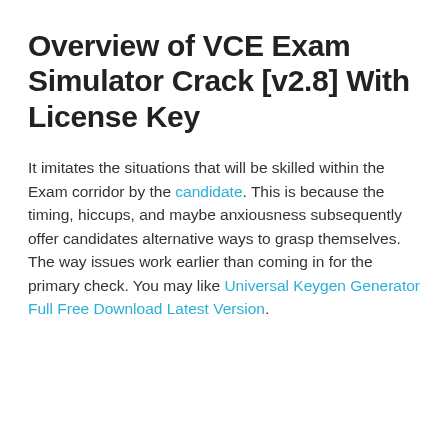Overview of VCE Exam Simulator Crack [v2.8] With License Key
It imitates the situations that will be skilled within the Exam corridor by the candidate. This is because the timing, hiccups, and maybe anxiousness subsequently offer candidates alternative ways to grasp themselves. The way issues work earlier than coming in for the primary check. You may like Universal Keygen Generator Full Free Download Latest Version.